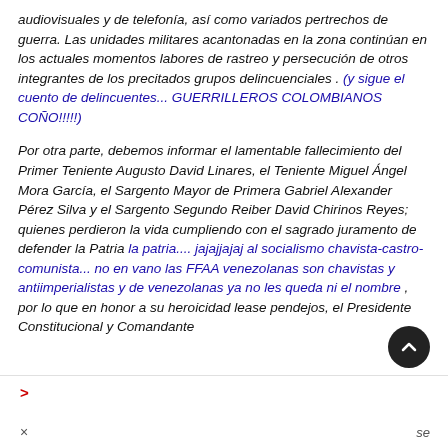audiovisuales y de telefonía, así como variados pertrechos de guerra. Las unidades militares acantonadas en la zona continúan en los actuales momentos labores de rastreo y persecución de otros integrantes de los precitados grupos delincuenciales . (y sigue el cuento de delincuentes... GUERRILLEROS COLOMBIANOS COÑO!!!!!)
Por otra parte, debemos informar el lamentable fallecimiento del Primer Teniente Augusto David Linares, el Teniente Miguel Ángel Mora García, el Sargento Mayor de Primera Gabriel Alexander Pérez Silva y el Sargento Segundo Reiber David Chirinos Reyes; quienes perdieron la vida cumpliendo con el sagrado juramento de defender la Patria la patria.... jajajjajaj al socialismo chavista-castro-comunista... no en vano las FFAA venezolanas son chavistas y antiimperialistas y de venezolanas ya no les queda ni el nombre , por lo que en honor a su heroicidad lease pendejos, el Presidente Constitucional y Comandante
> × se